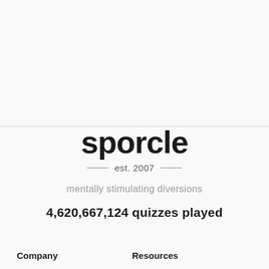sporcle
est. 2007
mentally stimulating diversions
4,620,667,124 quizzes played
Company
Resources